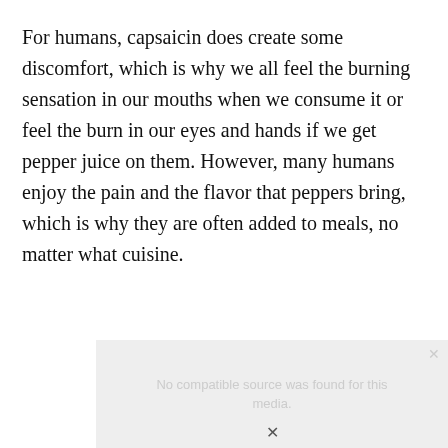For humans, capsaicin does create some discomfort, which is why we all feel the burning sensation in our mouths when we consume it or feel the burn in our eyes and hands if we get pepper juice on them. However, many humans enjoy the pain and the flavor that peppers bring, which is why they are often added to meals, no matter what cuisine.
[Figure (other): Video player placeholder showing 'No compatible source was found for this media.' message on a grey background with a close button and a downward arrow.]